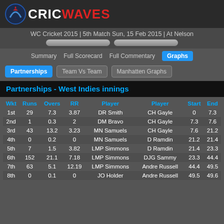CRICWAVES
WC Cricket 2015 | 5th Match Sun, 15 Feb 2015 | At Nelson
Summary  Full Scorecard  Full Commentary  Graphs
Partnerships  Team Vs Team  Manhatten Graphs
Partnerships - West Indies innings
| Wkt | Runs | Overs | RR | Player | Player | Start | End |
| --- | --- | --- | --- | --- | --- | --- | --- |
| 1st | 29 | 7.3 | 3.87 | DR Smith | CH Gayle | 0 | 7.3 |
| 2nd | 1 | 0.3 | 2 | DM Bravo | CH Gayle | 7.3 | 7.6 |
| 3rd | 43 | 13.2 | 3.23 | MN Samuels | CH Gayle | 7.6 | 21.2 |
| 4th | 0 | 0.2 | 0 | MN Samuels | D Ramdin | 21.2 | 21.4 |
| 5th | 7 | 1.5 | 3.82 | LMP Simmons | D Ramdin | 21.4 | 23.3 |
| 6th | 152 | 21.1 | 7.18 | LMP Simmons | DJG Sammy | 23.3 | 44.4 |
| 7th | 63 | 5.1 | 12.19 | LMP Simmons | Andre Russell | 44.4 | 49.5 |
| 8th | 0 | 0.1 | 0 | JO Holder | Andre Russell | 49.5 | 49.6 |